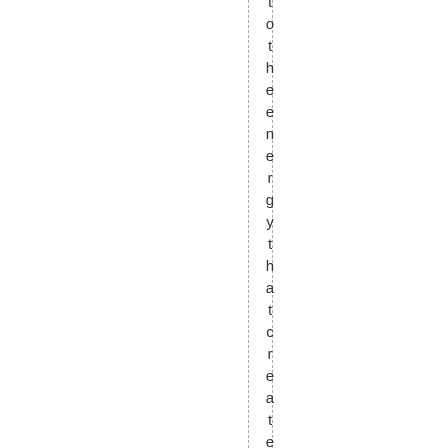to the energy that created the defect